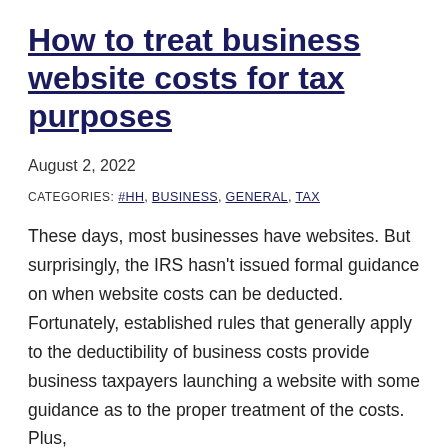How to treat business website costs for tax purposes
August 2, 2022
CATEGORIES: #HH, BUSINESS, GENERAL, TAX
These days, most businesses have websites. But surprisingly, the IRS hasn't issued formal guidance on when website costs can be deducted. Fortunately, established rules that generally apply to the deductibility of business costs provide business taxpayers launching a website with some guidance as to the proper treatment of the costs. Plus,